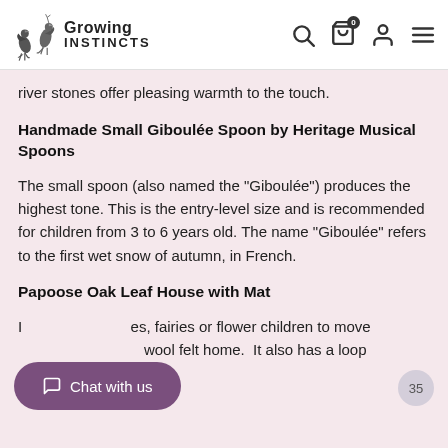Growing Instincts
river stones offer pleasing warmth to the touch.
Handmade Small Giboulée Spoon by Heritage Musical Spoons
The small spoon (also named the "Giboulée") produces the highest tone. This is the entry-level size and is recommended for children from 3 to 6 years old. The name "Giboulée" refers to the first wet snow of autumn, in French.
Papoose Oak Leaf House with Mat
I[nvites] fairies or flower children to move [into a] wool felt home.  It also has a loop on [the] top for hanging.